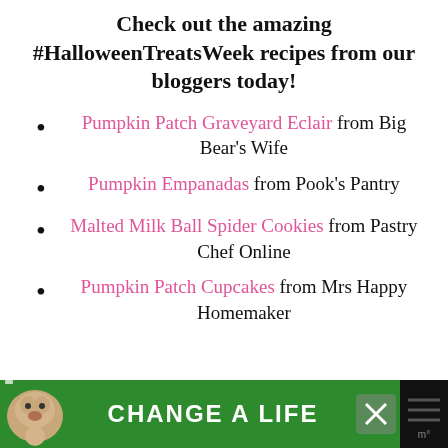Check out the amazing #HalloweenTreatsWeek recipes from our bloggers today!
Pumpkin Patch Graveyard Eclair from Big Bear's Wife
Pumpkin Empanadas from Pook's Pantry
Malted Milk Ball Spider Cookies from Pastry Chef Online
Pumpkin Patch Cupcakes from Mrs Happy Homemaker
[Figure (infographic): Advertisement banner with green background showing a dog, text 'CHANGE A LIFE', and a close X button]